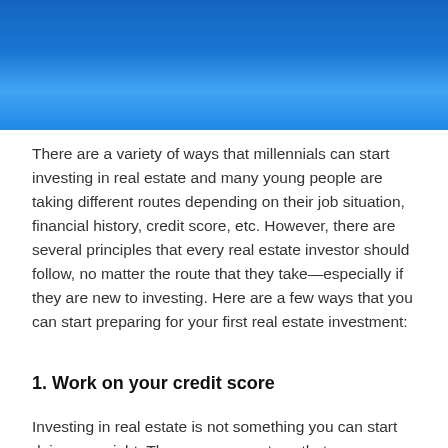[Figure (photo): Blue textured background photo banner at top of page]
There are a variety of ways that millennials can start investing in real estate and many young people are taking different routes depending on their job situation, financial history, credit score, etc. However, there are several principles that every real estate investor should follow, no matter the route that they take—especially if they are new to investing. Here are a few ways that you can start preparing for your first real estate investment:
1. Work on your credit score
Investing in real estate is not something you can start doing overnight. There are many steps that